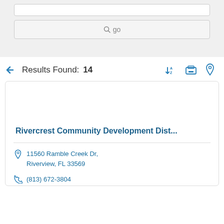[Figure (screenshot): Search bar with 'go' button on grey background]
Results Found: 14
Rivercrest Community Development Dist...
11560 Ramble Creek Dr, Riverview, FL 33569
(813) 672-3804